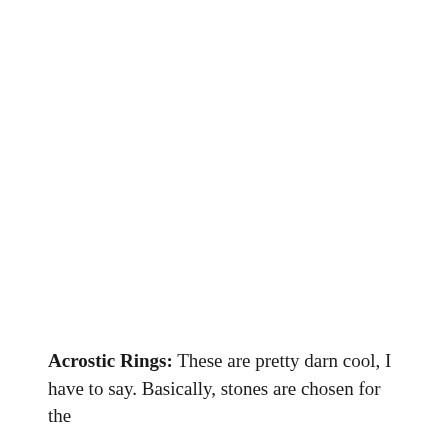Acrostic Rings: These are pretty darn cool, I have to say. Basically, stones are chosen for the